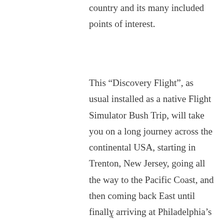country and its many included points of interest.
This “Discovery Flight”, as usual installed as a native Flight Simulator Bush Trip, will take you on a long journey across the continental USA, starting in Trenton, New Jersey, going all the way to the Pacific Coast, and then coming back East until finally arriving at Philadelphia’s International Airport. The aircraft of choice for this trip is the Cessna Caravan, and
x